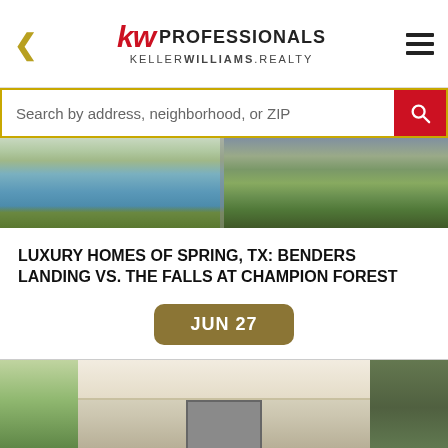kw PROFESSIONALS KELLERWILLIAMS.REALTY
Search by address, neighborhood, or ZIP
[Figure (photo): Exterior photo strip showing swimming pool on left and garden/lawn on right for a luxury property]
LUXURY HOMES OF SPRING, TX: BENDERS LANDING VS. THE FALLS AT CHAMPION FOREST
JUN 27
[Figure (photo): Interior kitchen photo of a luxury home showing white cabinets, stainless steel appliances, and granite countertops, with greenery visible on the sides]